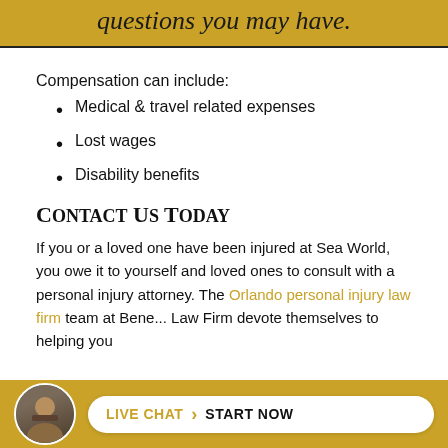questions you may have.
Compensation can include:
Medical & travel related expenses
Lost wages
Disability benefits
Contact Us Today
If you or a loved one have been injured at Sea World, you owe it to yourself and loved ones to consult with a personal injury attorney. The Orlando personal injury law firm team at Bene... Law Firm devote themselves to helping you